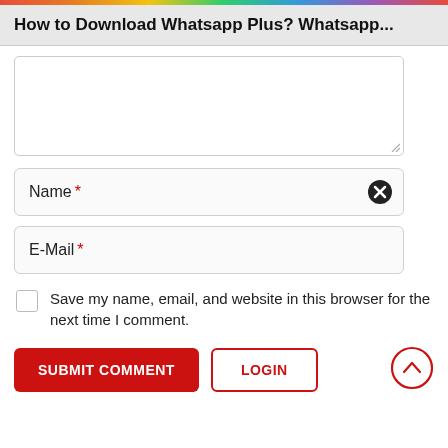How to Download Whatsapp Plus? Whatsapp...
[Figure (screenshot): Comment form textarea input box (empty)]
Name *
E-Mail *
Save my name, email, and website in this browser for the next time I comment.
SUBMIT COMMENT
LOGIN